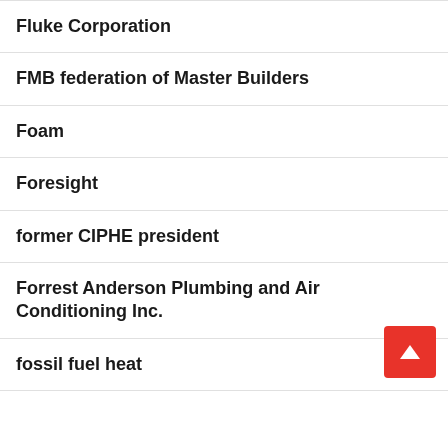Fluke Corporation
FMB federation of Master Builders
Foam
Foresight
former CIPHE president
Forrest Anderson Plumbing and Air Conditioning Inc.
fossil fuel heat